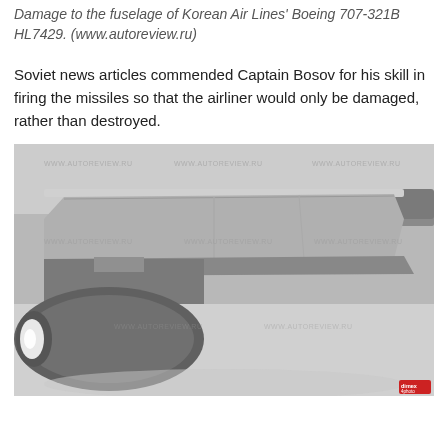Damage to the fuselage of Korean Air Lines' Boeing 707-321B HL7429. (www.autoreview.ru)
Soviet news articles commended Captain Bosov for his skill in firing the missiles so that the airliner would only be damaged, rather than destroyed.
[Figure (photo): Black and white photograph showing the damaged fuselage and engine area of Korean Air Lines Boeing 707-321B HL7429 on a snowy field. The image shows the aircraft wing, engine nacelle, and damage. Watermarks reading www.autoreview.ru are repeated across the image. A small red badge appears in the bottom-right corner.]